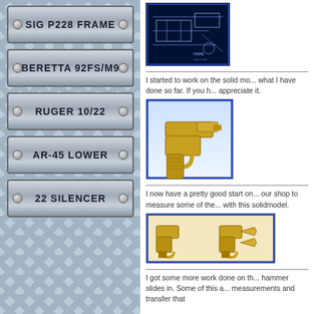SIG P228 FRAME
BERETTA 92FS/M9
RUGER 10/22
AR-45 LOWER
22 SILENCER
[Figure (engineering-diagram): Blueprint/technical drawing of a firearm frame shown in dark blue background with white lines]
I started to work on the solid mo... what I have done so far. If you h... appreciate it.
[Figure (illustration): 3D solid model render of a gold/tan colored pistol frame on light blue background]
I now have a pretty good start on... our shop to measure some of the... with this solidmodel.
[Figure (illustration): Two 3D solid model renders of gold/tan colored pistol components on light background]
I got some more work done on th... hammer slides in. Some of this a... measurements and transfer that